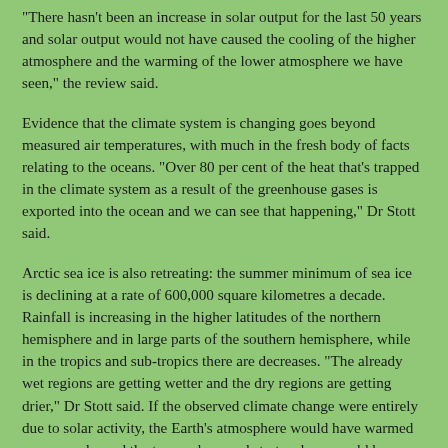"There hasn't been an increase in solar output for the last 50 years and solar output would not have caused the cooling of the higher atmosphere and the warming of the lower atmosphere we have seen," the review said.
Evidence that the climate system is changing goes beyond measured air temperatures, with much in the fresh body of facts relating to the oceans. "Over 80 per cent of the heat that's trapped in the climate system as a result of the greenhouse gases is exported into the ocean and we can see that happening," Dr Stott said.
Arctic sea ice is also retreating: the summer minimum of sea ice is declining at a rate of 600,000 square kilometres a decade. Rainfall is increasing in the higher latitudes of the northern hemisphere and in large parts of the southern hemisphere, while in the tropics and sub-tropics there are decreases. "The already wet regions are getting wetter and the dry regions are getting drier," Dr Stott said. If the observed climate change were entirely due to solar activity, the Earth's atmosphere would have warmed more evenly, and the troposphere and stratosphere would have been affected.